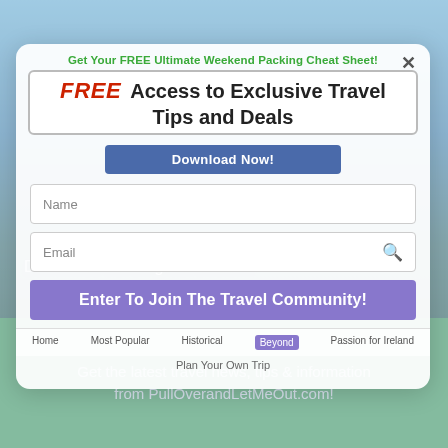[Figure (screenshot): Travel website screenshot showing PullOver and LetMeOut website background with landscape mountains and lake, with a modal popup overlay for newsletter signup]
Get Your FREE Ultimate Weekend Packing Cheat Sheet!
FREE Access to Exclusive Travel Tips and Deals
Download Now!
Don't miss out on great deals....
Name
Email
Search...
Enter To Join The Travel Community!
Home  Most Popular  Historical  Beyond  Passion for Ireland
Plan Your Own Trip
Get the latest travel news, tips & information from PullOverandLetMeOut.com!